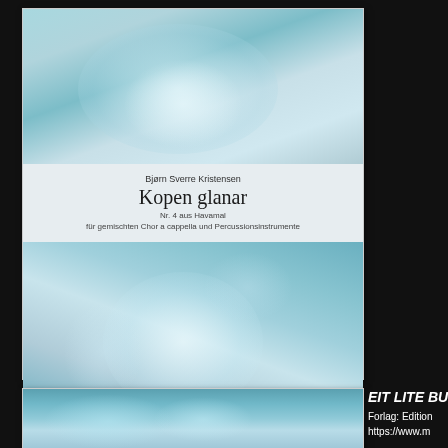[Figure (photo): Sheet music cover for 'Kopen glanar' by Bjørn Sverre Kristensen. Top portion shows abstract blue-green photograph. Middle band shows title text. Lower portion shows continuation of abstract blue-green photograph.]
Kopen glanar
Bjørn Sverre Kristensen
Nr. 4 aus Havamal
für gemischten Chor a cappella und Percussionsinstrumente
[Figure (photo): Partial sheet music cover showing abstract blue-green photograph, bottom portion of page]
EIT LITE BU, SA
Forlag: Edition
https://www.m